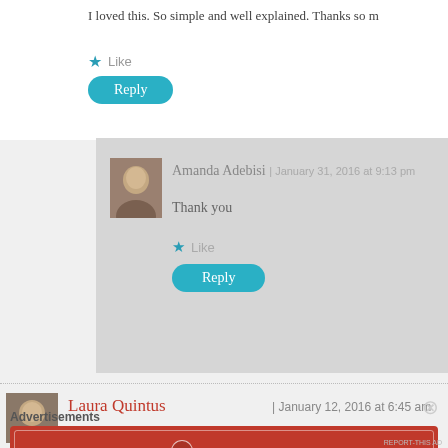I loved this. So simple and well explained. Thanks so m
Like
Reply
Amanda Adebisi | January 31, 2016 at 9:13 pm
Thank you
Like
Reply
Laura Quintus | January 12, 2016 at 6:45 am
Advertisements
[Figure (other): Longreads advertisement banner: red background with Longreads logo and text 'The best stories on the web – ours, and everyone else's.']